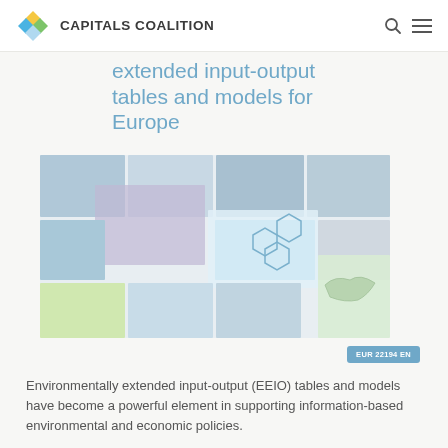CAPITALS COALITION
extended input-output tables and models for Europe
[Figure (photo): A collage of multiple photographs showing people working, recycling imagery, network diagrams, maps of Europe, cityscapes, and public transport scenes.]
EUR 22194 EN
Environmentally extended input-output (EEIO) tables and models have become a powerful element in supporting information-based environmental and economic policies.